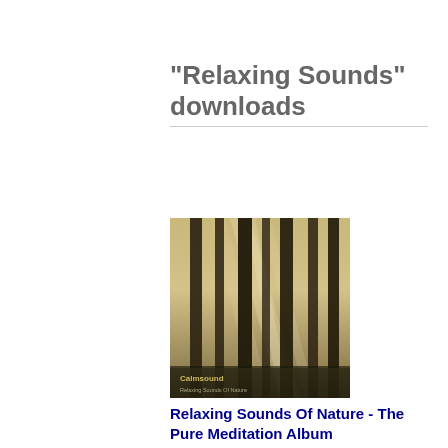"Relaxing Sounds" downloads
[Figure (photo): Album cover for Relaxing Sounds Of Nature - The Pure Meditation Album by Calmsound. Shows sunlight filtering through tall trees in a forest with misty atmosphere.]
Relaxing Sounds Of Nature - The Pure Meditation Album
Relaxing sounds of nature - The Pure Meditation Album: A beautiful collection of relaxing, soothing sounds to take you away...
1. Ancient Woodland Relaxing Sounds of Nature.mp3
Sample